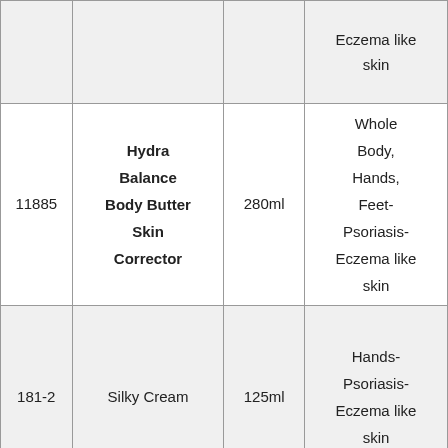| ID | Product Name | Size | Use |
| --- | --- | --- | --- |
|  |  |  | Eczema like
skin |
| 11885 | Hydra Balance Body Butter Skin Corrector | 280ml | Whole Body, Hands, Feet-Psoriasis-Eczema like skin |
| 181-2 | Silky Cream | 125ml | Hands-Psoriasis-Eczema like skin |